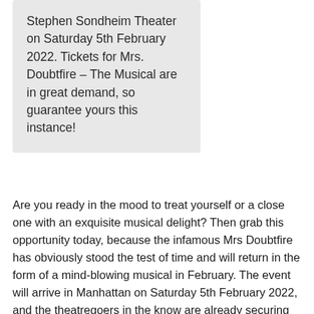Stephen Sondheim Theater on Saturday 5th February 2022. Tickets for Mrs. Doubtfire – The Musical are in great demand, so guarantee yours this instance!
Are you ready in the mood to treat yourself or a close one with an exquisite musical delight? Then grab this opportunity today, because the infamous Mrs Doubtfire has obviously stood the test of time and will return in the form of a mind-blowing musical in February. The event will arrive in Manhattan on Saturday 5th February 2022, and the theatregoers in the know are already securing the best seats. The host of this lush event comes as no surprise. Stephen Sondheim Theater stays true to the long-kept tradition of showcasing some of the finest performances across the state, bringing thrill and joy to the patrons of all walks of life. Naming what they enjoy the